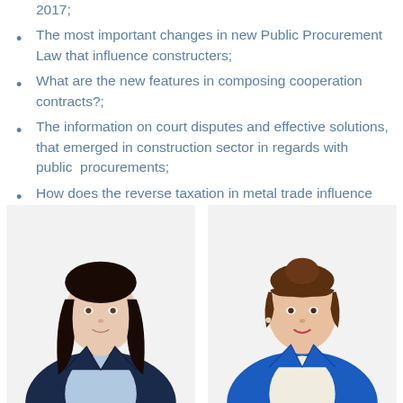The most important changes in new Public Procurement Law that influence constructers;
What are the new features in composing cooperation contracts?;
The information on court disputes and effective solutions, that emerged in construction sector in regards with public  procurements;
How does the reverse taxation in metal trade influence public procurements?
[Figure (photo): Two professional women in business attire. Left: dark-haired woman in navy jacket. Right: brunette woman in bright blue jacket.]